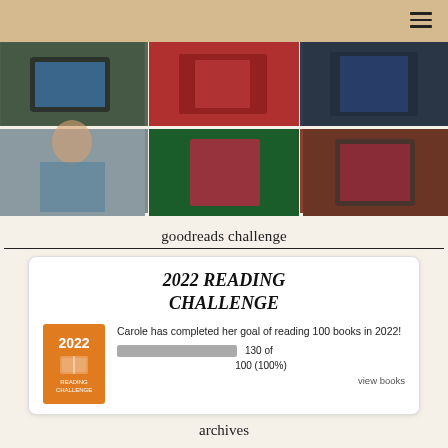[Figure (photo): A 2x3 grid of six book-related photos: e-reader in hand, person holding a book with red cover, bookshelf with a tablet, woman with stack of books at a bookshelf, colorful fantasy book flat lay, person holding an e-reader with a book cover.]
goodreads challenge
[Figure (infographic): 2022 Reading Challenge badge and progress. Title: 2022 READING CHALLENGE. Orange badge with '2022 READING CHALLENGE' text and book icon. Text: 'Carole has completed her goal of reading 100 books in 2022!' Progress bar fully filled. Count: 130 of 100 (100%). Link: view books.]
archives